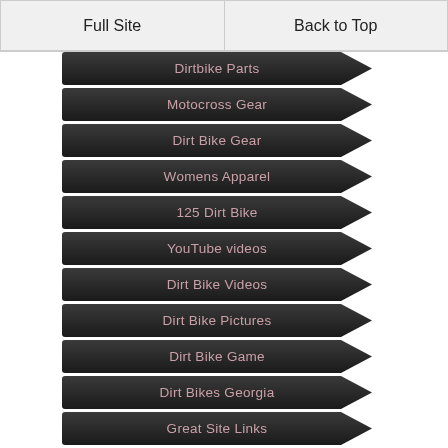Full Site
Back to Top
Dirtbike Parts
Motocross Gear
Dirt Bike Gear
Womens Apparel
125 Dirt Bike
YouTube videos
Dirt Bike Videos
Dirt Bike Pictures
Dirt Bike Game
Dirt Bikes Georgia
Great Site Links
Privacy policy
Disclaimer
Advertising Policy
About Us